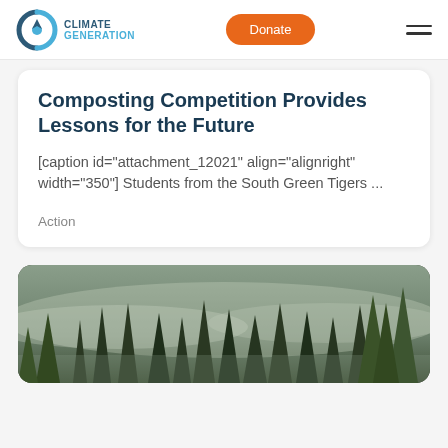Climate Generation — Donate — Menu
Composting Competition Provides Lessons for the Future
[caption id="attachment_12021" align="alignright" width="350"] Students from the South Green Tigers ...
Action
[Figure (photo): A misty forest of tall evergreen trees in fog, viewed from below, with green foliage in low light.]